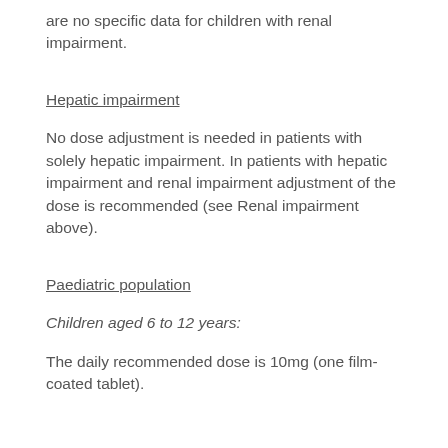are no specific data for children with renal impairment.
Hepatic impairment
No dose adjustment is needed in patients with solely hepatic impairment. In patients with hepatic impairment and renal impairment adjustment of the dose is recommended (see Renal impairment above).
Paediatric population
Children aged 6 to 12 years:
The daily recommended dose is 10mg (one film-coated tablet).